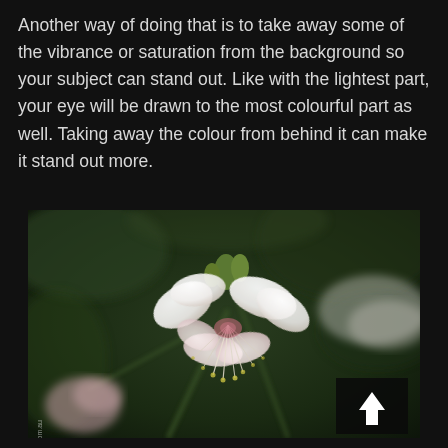Another way of doing that is to take away some of the vibrance or saturation from the background so your subject can stand out. Like with the lightest part, your eye will be drawn to the most colourful part as well. Taking away the colour from behind it can make it stand out more.
[Figure (photo): Close-up macro photograph of a white flower with pink stamens and green buds against a dark green blurred background. Watermark reads www.leannecole.com.au. A dark square with an upward arrow is overlaid in the bottom-right corner.]